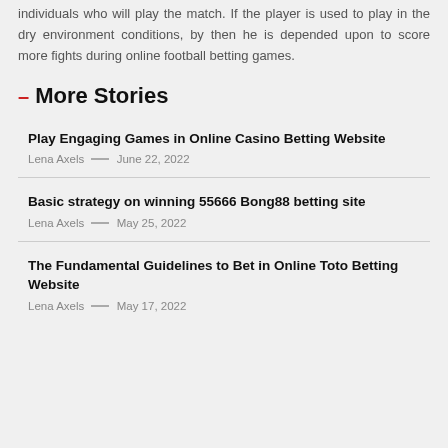individuals who will play the match. If the player is used to play in the dry environment conditions, by then he is depended upon to score more fights during online football betting games.
More Stories
Play Engaging Games in Online Casino Betting Website
Lena Axels — June 22, 2022
Basic strategy on winning 55666 Bong88 betting site
Lena Axels — May 25, 2022
The Fundamental Guidelines to Bet in Online Toto Betting Website
Lena Axels — May 17, 2022